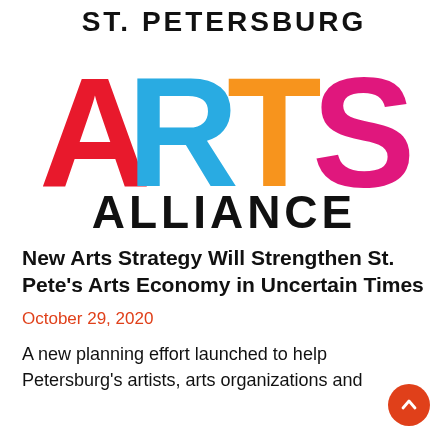[Figure (logo): St. Petersburg Arts Alliance logo with colorful ARTS lettering (A in red, R in cyan/blue, T in orange, S in magenta/pink) and ALLIANCE in black]
New Arts Strategy Will Strengthen St. Pete's Arts Economy in Uncertain Times
October 29, 2020
A new planning effort launched to help Petersburg's artists, arts organizations and